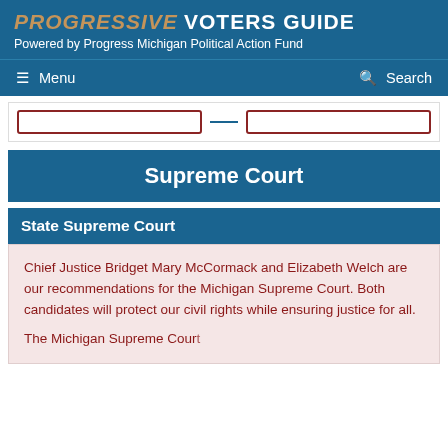PROGRESSIVE VOTERS GUIDE
Powered by Progress Michigan Political Action Fund
Menu    Search
Supreme Court
State Supreme Court
Chief Justice Bridget Mary McCormack and Elizabeth Welch are our recommendations for the Michigan Supreme Court. Both candidates will protect our civil rights while ensuring justice for all.

The Michigan Supreme Court...